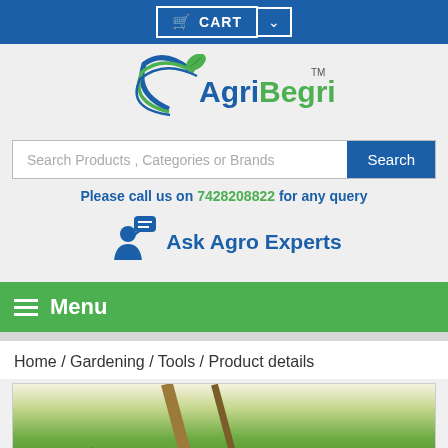CART
[Figure (logo): AgriBegri logo with green leaf and swoosh design, text AgriBegri with TM mark]
Search Products , Categories or Brands
Please call us on 7428208822 for any query
[Figure (infographic): Ask Agro Experts icon - person with speech bubble]
Ask Agro Experts
Menu
Home / Gardening / Tools / Product details
[Figure (photo): Photo of gardening tool (rake) on green grass/lawn]